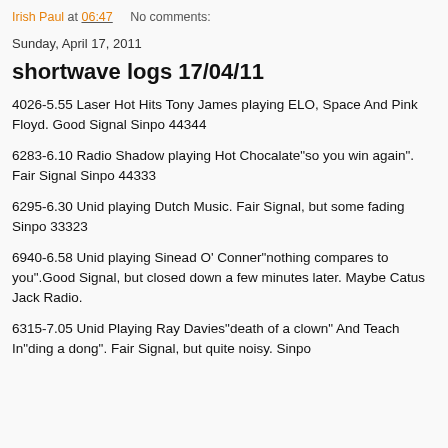Irish Paul at 06:47    No comments:
Sunday, April 17, 2011
shortwave logs 17/04/11
4026-5.55 Laser Hot Hits Tony James playing ELO, Space And Pink Floyd. Good Signal Sinpo 44344
6283-6.10 Radio Shadow playing Hot Chocalate"so you win again". Fair Signal Sinpo 44333
6295-6.30 Unid playing Dutch Music. Fair Signal, but some fading Sinpo 33323
6940-6.58 Unid playing Sinead O' Conner"nothing compares to you".Good Signal, but closed down a few minutes later. Maybe Catus Jack Radio.
6315-7.05 Unid Playing Ray Davies"death of a clown" And Teach In"ding a dong". Fair Signal, but quite noisy. Sinpo